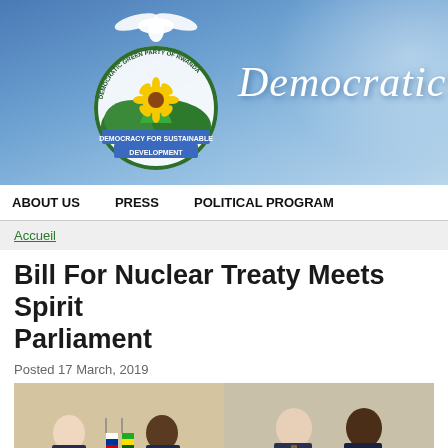[Figure (photo): Democratic Green Party of Rwanda website header banner with party logo (bird, sunflower, mountains, 'Democracy for Sustainable Development') and italic 'Democratic Gre...' text on blue sky background]
ABOUT US   PRESS   POLITICAL PROGRAM
Accueil
Bill For Nuclear Treaty Meets Spirit... Parliament
Posted 17 March, 2019
[Figure (photo): Two-panel photo: left panel shows two men in suits signing documents at a table with Russian and Rwandan flags; right panel shows two men shaking hands in formal attire]